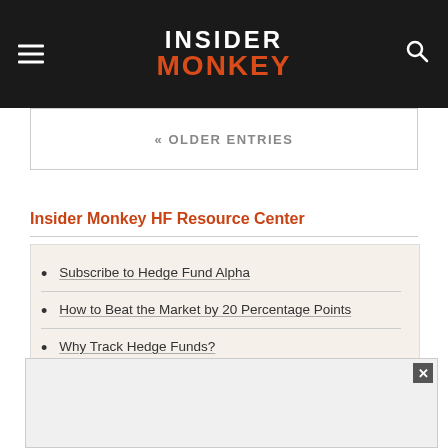INSIDER MONKEY
« OLDER ENTRIES
Insider Monkey HF Resource Center
Subscribe to Hedge Fund Alpha
How to Beat the Market by 20 Percentage Points
Why Track Hedge Funds?
Download a Free Edition!
[Figure (other): Close popup advertisement overlay with X button]